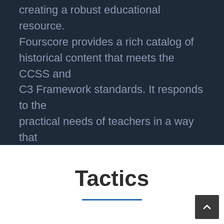creating a robust educational resource. Fourscore provides a rich catalog of historical content that meets the CCSS and C3 Framework standards. It responds to the practical needs of teachers in a way that engages students. View the site at 4score.org.
Tactics